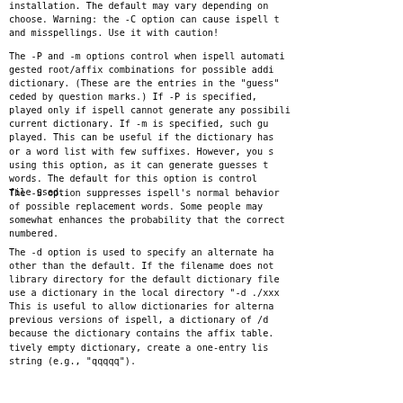installation. The default may vary depending on the hash you choose. Warning: the -C option can cause ispell to overlook errors and misspellings. Use it with caution!
The -P and -m options control when ispell automatically suggests root/affix combinations for possible addition to the dictionary. (These are the entries in the "guess" list, preceded by question marks.) If -P is specified, such guesses are displayed only if ispell cannot generate any possibilities from the current dictionary. If -m is specified, such guesses are always displayed. This can be useful if the dictionary has been created from or a word list with few suffixes. However, you should be careful using this option, as it can generate guesses that are not real words. The default for this option is controlled by the hash file used.
The -S option suppresses ispell's normal behavior of sorting the list of possible replacement words. Some people may prefer this, as it somewhat enhances the probability that the correct word will be numbered.
The -d option is used to specify an alternate hash file other than the default. If the filename does not begin with '/', the library directory for the default dictionary file is prepended. To use a dictionary in the local directory "-d ./xxx". can be used. This is useful to allow dictionaries for alternate languages. In previous versions of ispell, a dictionary of /dev/null was suggested because the dictionary contains the affix table. To create a relatively empty dictionary, create a one-entry list containing only the string (e.g., "qqqqq").